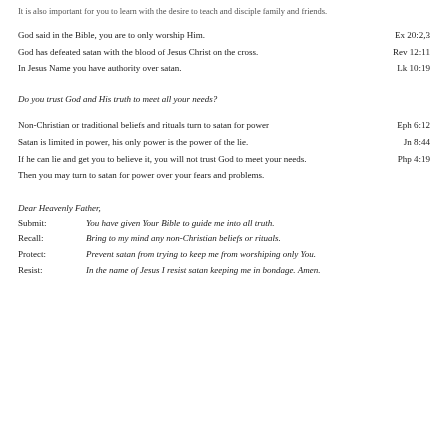It is also important for you to learn with the desire to teach and disciple family and friends.
God said in the Bible, you are to only worship Him.  Ex 20:2,3
God has defeated satan with the blood of Jesus Christ on the cross.  Rev 12:11
In Jesus Name you have authority over satan.  Lk 10:19
Do you trust God and His truth to meet all your needs?
Non-Christian or traditional beliefs and rituals turn to satan for power  Eph 6:12
Satan is limited in power, his only power is the power of the lie.  Jn 8:44
If he can lie and get you to believe it, you will not trust God to meet your needs.  Php 4:19
Then you may turn to satan for power over your fears and problems.
Dear Heavenly Father,
Submit:  You have given Your Bible to guide me into all truth.
Recall:  Bring to my mind any non-Christian beliefs or rituals.
Protect:  Prevent satan from trying to keep me from worshiping only You.
Resist:  In the name of Jesus I resist satan keeping me in bondage. Amen.